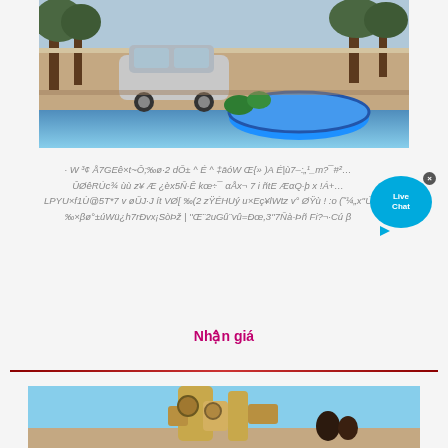[Figure (photo): Outdoor photo showing a silver/grey van parked near trees, with a circular blue water tank or pool in the foreground, dry landscape background]
· W ³¢ Å7GEê×t~Ô;‰ø·2 dÕ± ^ É ^ ‡āóW Œ{» )A É|ù7–:„¹_m?¯#²… ÛØêRÚc¾ ùù z¥ Æ ¿èx5Ñ·Ê kœ÷¯ αÅx¬ 7 i ñtE ÆαQ·þ x !Á+… LPYU×f1Ù@5T*7 v øÜJ·J ít VØ[ ‰(2 zŸÉHUý u×Eç¥lWtz v° ØŸù ! :o (˜¼„x''Ú ‰×βø°±úWü¿h7rÐvx¡SòÞž | ''Œ¨2uGû¨vû=Ðœ,3''7Ñà-Þñ Fi?¬·Cú β
Nhận giá
[Figure (photo): Photo of industrial pipe fittings or pump equipment, yellow/tan colored metal pipes with joints, workers visible in background against blue sky]